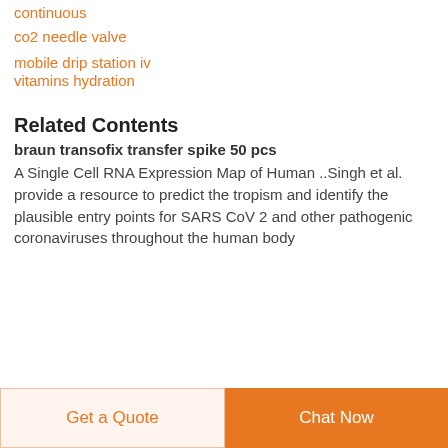continuous
co2 needle valve
mobile drip station iv
vitamins hydration
Related Contents
braun transofix transfer spike 50 pcs
A Single Cell RNA Expression Map of Human ..Singh et al. provide a resource to predict the tropism and identify the plausible entry points for SARS CoV 2 and other pathogenic coronaviruses throughout the human body
Get a Quote  Chat Now